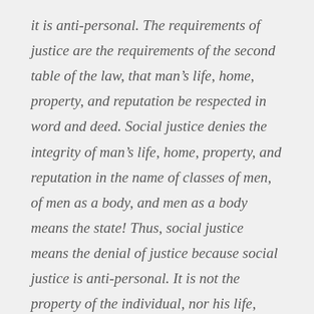it is anti-personal. The requirements of justice are the requirements of the second table of the law, that man's life, home, property, and reputation be respected in word and deed. Social justice denies the integrity of man's life, home, property, and reputation in the name of classes of men, of men as a body, and men as a body means the state! Thus, social justice means the denial of justice because social justice is anti-personal. It is not the property of the individual, nor his life, home, and